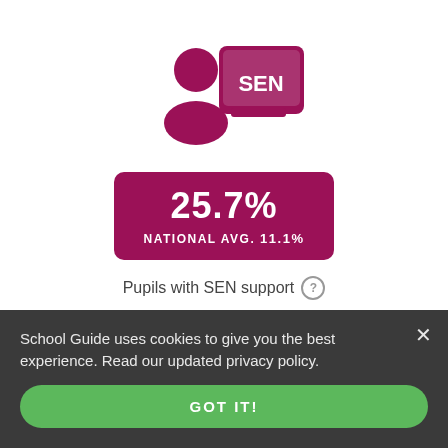[Figure (infographic): SEN icon: a person silhouette (dark magenta) next to a presentation board showing 'SEN' label (dark magenta)]
[Figure (infographic): Stat box with dark magenta background showing '25.7%' as main value and 'NATIONAL AVG. 11.1%' as subtitle]
Pupils with SEN support
School Guide uses cookies to give you the best experience. Read our updated privacy policy.
GOT IT!